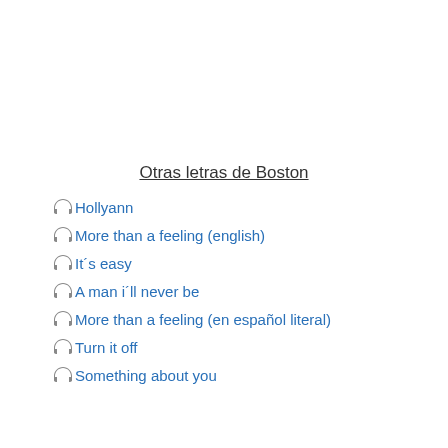Otras letras de Boston
🎧Hollyann
🎧More than a feeling (english)
🎧It´s easy
🎧A man i´ll never be
🎧More than a feeling (en español literal)
🎧Turn it off
🎧Something about you